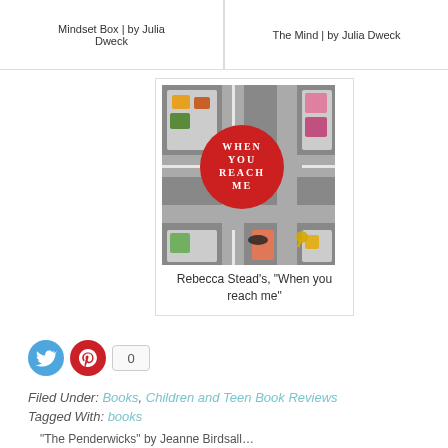Mindset Box | by Julia Dweck
The Mind | by Julia Dweck
[Figure (photo): Book cover of 'When You Reach Me' by Rebecca Stead, showing a bird's eye view of a street intersection with miniature objects drawn in chalk]
Rebecca Stead's, "When you reach me"
0
Filed Under: Books, Children and Teen Book Reviews
Tagged With: books
"The Penderwicks" by Jeanne Birdsall